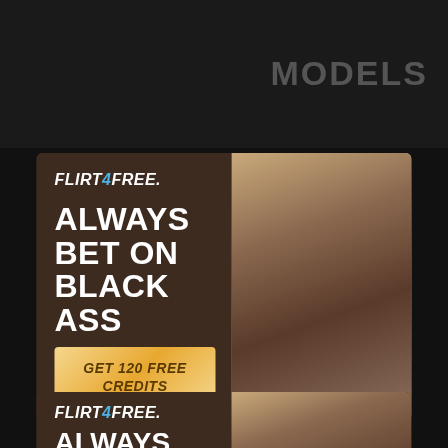MODELS
[Figure (advertisement): Flirt4Free adult advertisement banner showing logo, headline 'ALWAYS BET ON BLACK ASS', and 'GET 120 FREE CREDITS' CTA button with a photo of a model]
Close [X]
[Figure (advertisement): Partial repeat of Flirt4Free advertisement showing logo and headline 'ALWAYS BET ON' at bottom of page]